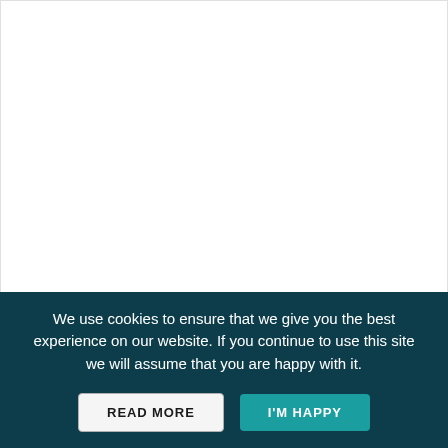[Figure (other): White blank content area at top of page]
We use cookies to ensure that we give you the best experience on our website. If you continue to use this site we will assume that you are happy with it.
READ MORE
I'M HAPPY